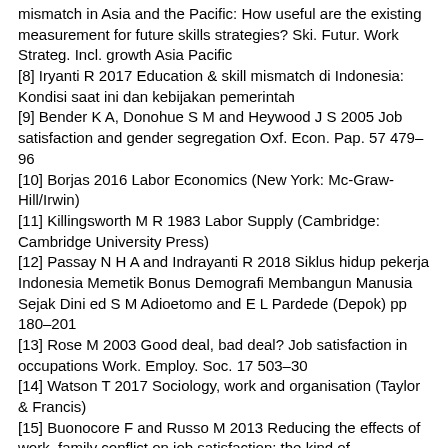mismatch in Asia and the Pacific: How useful are the existing measurement for future skills strategies? Ski. Futur. Work Strateg. Incl. growth Asia Pacific
[8] Iryanti R 2017 Education & skill mismatch di Indonesia: Kondisi saat ini dan kebijakan pemerintah
[9] Bender K A, Donohue S M and Heywood J S 2005 Job satisfaction and gender segregation Oxf. Econ. Pap. 57 479–96
[10] Borjas 2016 Labor Economics (New York: Mc-Graw-Hill/Irwin)
[11] Killingsworth M R 1983 Labor Supply (Cambridge: Cambridge University Press)
[12] Passay N H A and Indrayanti R 2018 Siklus hidup pekerja Indonesia Memetik Bonus Demografi Membangun Manusia Sejak Dini ed S M Adioetomo and E L Pardede (Depok) pp 180–201
[13] Rose M 2003 Good deal, bad deal? Job satisfaction in occupations Work. Employ. Soc. 17 503–30
[14] Watson T 2017 Sociology, work and organisation (Taylor & Francis)
[15] Buonocore F and Russo M 2013 Reducing the effects of work–family conflict on job satisfaction: the kind of commitment matters Hum. Resour. Manag. J. 23 91–108